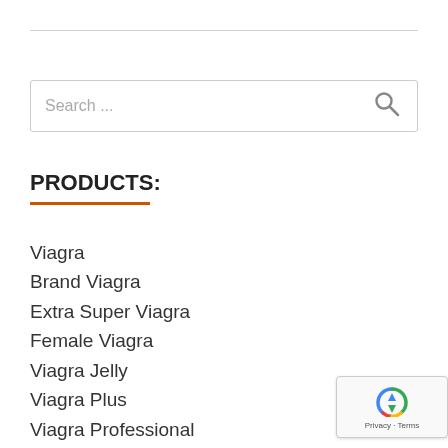[Figure (other): Search input box with search icon on right, placeholder text 'Search ...']
PRODUCTS:
Viagra
Brand Viagra
Extra Super Viagra
Female Viagra
Viagra Jelly
Viagra Plus
Viagra Professional